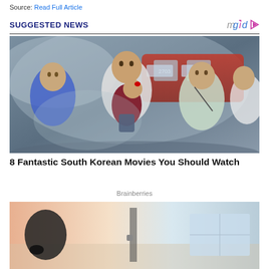Source: Read Full Article
SUGGESTED NEWS
[Figure (photo): Movie still from a South Korean film showing a man carrying a child while running, with other people in the background near a train]
8 Fantastic South Korean Movies You Should Watch
Brainberries
[Figure (photo): Partial view of another suggested article image, showing an interior scene]